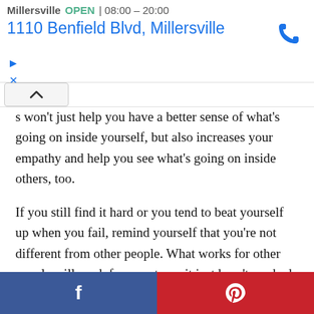[Figure (screenshot): Ad banner showing store name 'Millersville', OPEN status 08:00-20:00, address '1110 Benfield Blvd, Millersville', phone icon, and ad controls]
s won't just help you have a better sense of what's going on inside yourself, but also increases your empathy and help you see what's going on inside others, too.

If you still find it hard or you tend to beat yourself up when you fail, remind yourself that you're not different from other people. What works for other people will work for you, too – it just hasn't worked yet.
[Figure (screenshot): Share bar with Facebook (blue) and Pinterest (red) buttons at the bottom]